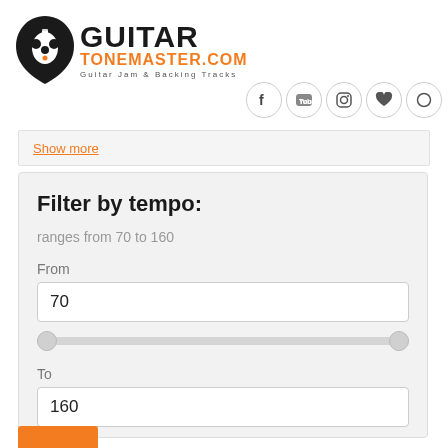[Figure (logo): GuitarTonemaster.com logo with guitar pick icon and text 'GUITAR TONEMASTER.COM - Guitar Jam & Backing Tracks']
[Figure (infographic): Social media icon buttons row: Facebook, YouTube, Instagram, heart/favorites, user/circle icons]
Show more
Filter by tempo:
ranges from 70 to 160
From
70
To
160